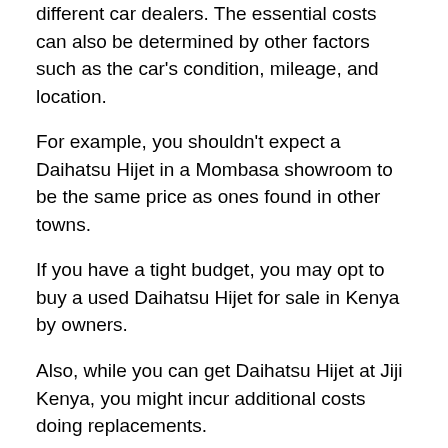different car dealers. The essential costs can also be determined by other factors such as the car's condition, mileage, and location.
For example, you shouldn't expect a Daihatsu Hijet in a Mombasa showroom to be the same price as ones found in other towns.
If you have a tight budget, you may opt to buy a used Daihatsu Hijet for sale in Kenya by owners.
Also, while you can get Daihatsu Hijet at Jiji Kenya, you might incur additional costs doing replacements.
Besides, you need to know that buying a second-hand car will have lower quality than buying a new one in the showroom.
Although it may be cheap to buy, you will spend a lot